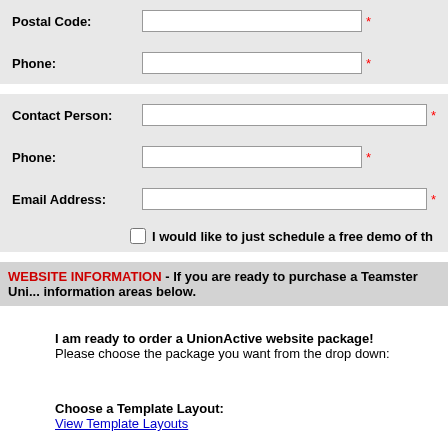| Label | Input | Required |
| --- | --- | --- |
| Postal Code: |  | * |
| Phone: |  | * |
| Label | Input | Required |
| --- | --- | --- |
| Contact Person: |  | * |
| Phone: |  | * |
| Email Address: |  | * |
|  | I would like to just schedule a free demo of th |  |
WEBSITE INFORMATION - If you are ready to purchase a Teamster Un... information areas below.
I am ready to order a UnionActive website package! Please choose the package you want from the drop down:
Choose a Template Layout: View Template Layouts
Do you have a Logo for the website? (Click the browse button to select the logo from your computer)